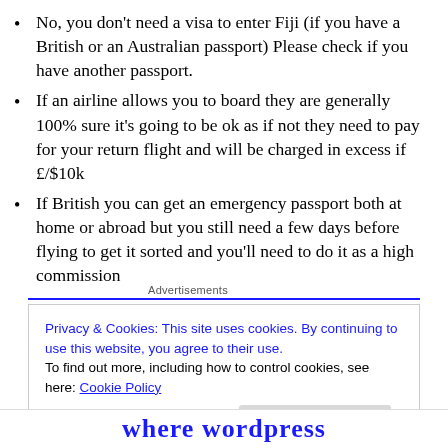No, you don't need a visa to enter Fiji (if you have a British or an Australian passport) Please check if you have another passport.
If an airline allows you to board they are generally 100% sure it's going to be ok as if not they need to pay for your return flight and will be charged in excess if £/$10k
If British you can get an emergency passport both at home or abroad but you still need a few days before flying to get it sorted and you'll need to do it as a high commission
Advertisements
Privacy & Cookies: This site uses cookies. By continuing to use this website, you agree to their use.
To find out more, including how to control cookies, see here: Cookie Policy
Close and accept
Where WordPress